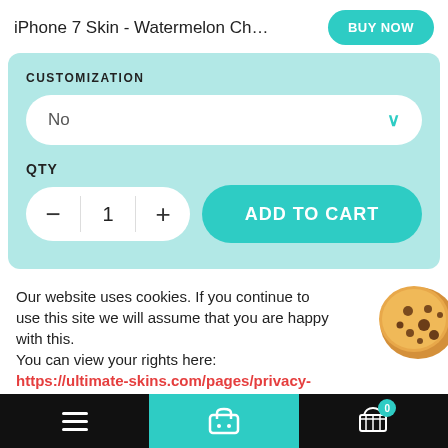iPhone 7 Skin - Watermelon Chame...
CUSTOMIZATION
No
QTY  1  ADD TO CART
Our website uses cookies. If you continue to use this site we will assume that you are happy with this. You can view your rights here: https://ultimate-skins.com/pages/privacy-policy
Navigation bar with menu, cart, and shopping cart (0 items)